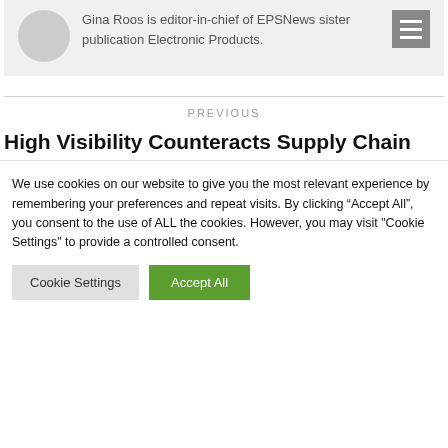Gina Roos is editor-in-chief of EPSNews sister publication Electronic Products.
PREVIOUS
High Visibility Counteracts Supply Chain
We use cookies on our website to give you the most relevant experience by remembering your preferences and repeat visits. By clicking “Accept All”, you consent to the use of ALL the cookies. However, you may visit "Cookie Settings" to provide a controlled consent.